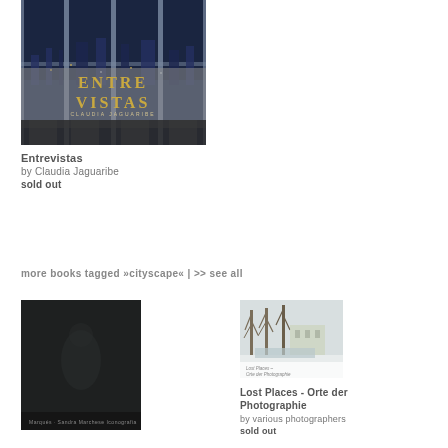[Figure (photo): Book cover of Entrevistas by Claudia Jaguaribe — cityscape at night viewed through windows, with the title text overlaid]
Entrevistas
by Claudia Jaguaribe
sold out
more books tagged »cityscape« | >> see all
[Figure (photo): Dark book cover, mostly black, with a faint figure and text at the bottom]
[Figure (photo): Book cover of Lost Places - Orte der Photographie showing a winter landscape with bare trees and a building]
Lost Places - Orte der Photographie
by various photographers
sold out